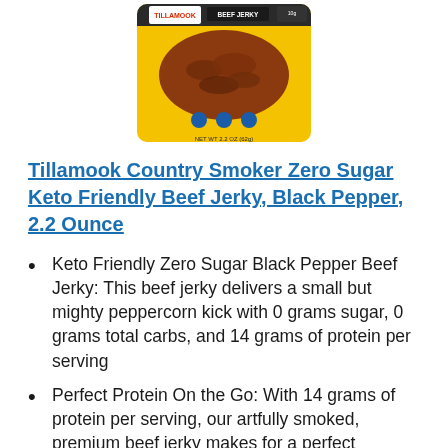[Figure (photo): Product image of Tillamook Country Smoker Zero Sugar Beef Jerky package in yellow and black packaging]
Tillamook Country Smoker Zero Sugar Keto Friendly Beef Jerky, Black Pepper, 2.2 Ounce
Keto Friendly Zero Sugar Black Pepper Beef Jerky: This beef jerky delivers a small but mighty peppercorn kick with 0 grams sugar, 0 grams total carbs, and 14 grams of protein per serving
Perfect Protein On the Go: With 14 grams of protein per serving, our artfully smoked, premium beef jerky makes for a perfect portable protein snack anytime to keep you satisfied and energized on the go
Shop Our Whole Range: We make a wide variety of jerky and meat sticks, including